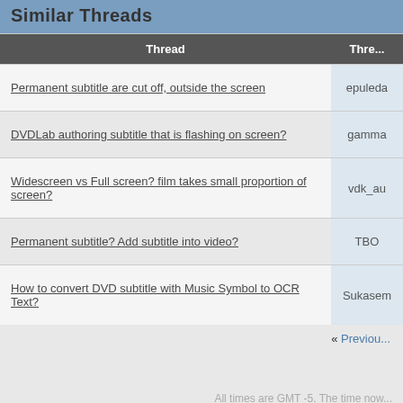Similar Threads
| Thread | Thre... |
| --- | --- |
| Permanent subtitle are cut off, outside the screen | epuleda |
| DVDLab authoring subtitle that is flashing on screen? | gamma |
| Widescreen vs Full screen? film takes small proportion of screen? | vdk_au |
| Permanent subtitle? Add subtitle into video? | TBO |
| How to convert DVD subtitle with Music Symbol to OCR Text? | Sukasem |
« Previou...
All times are GMT -5. The time now...
Top of Page  -  Site Home  -